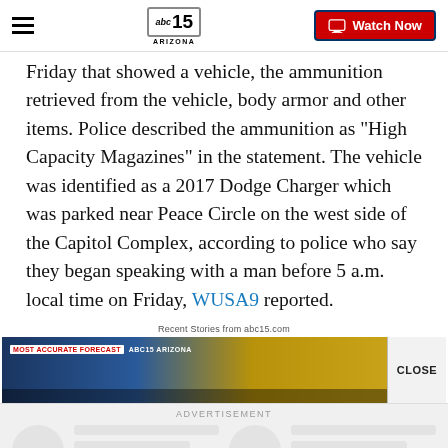ABC15 Arizona — Watch Now
Friday that showed a vehicle, the ammunition retrieved from the vehicle, body armor and other items. Police described the ammunition as "High Capacity Magazines" in the statement. The vehicle was identified as a 2017 Dodge Charger which was parked near Peace Circle on the west side of the Capitol Complex, according to police who say they began speaking with a man before 5 a.m. local time on Friday, WUSA9 reported.
Recent Stories from abc15.com
[Figure (screenshot): ABC15 Arizona video thumbnail showing weather forecast with MOST ACCURATE FORECAST and ABC15 ARIZONA text overlay on a blue and gold background]
CLOSE
ADVERTISEMENT